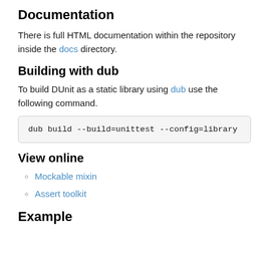Documentation
There is full HTML documentation within the repository inside the docs directory.
Building with dub
To build DUnit as a static library using dub use the following command.
View online
Mockable mixin
Assert toolkit
Example